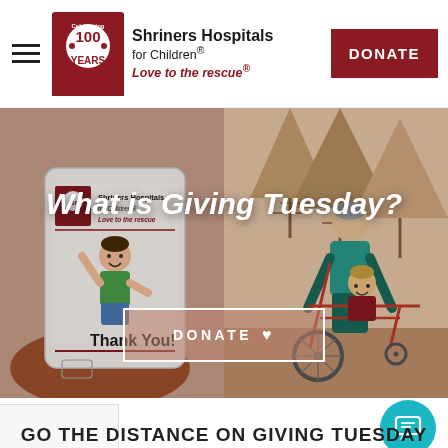Shriners Hospitals for Children® — Love to the rescue® — DONATE
[Figure (screenshot): Hero banner with two illustrated panels: left panel shows a smartphone displaying Shriners Hospitals branding and a happy child with arm raised; right panel shows an illustrated outdoor scene with an adult pushing a child in a wheelchair among stylized trees. Text overlay reads 'What is Giving Tuesday?' with a DONATE button below.]
What is Giving Tuesday?
DONATE ♥
GO THE DISTANCE ON GIVING TUESDAY